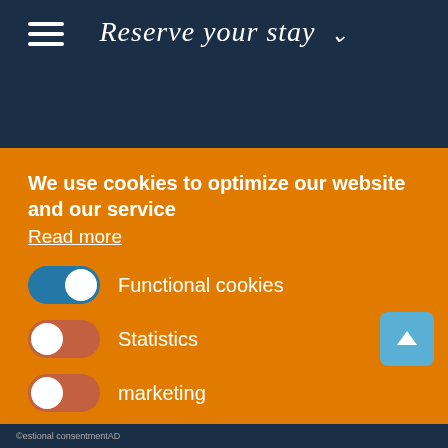[Figure (screenshot): Website header bar with dark navy background, hamburger menu icon on left, italic script text 'Reserve your stay' with dropdown arrow in center]
We use cookies to optimize our website and our service Read more
Functional cookies (toggle on - blue)
Statistics (toggle off - orange/red)
marketing (toggle off - orange/red)
Accept all
Save preferences
©estional consentmentAD